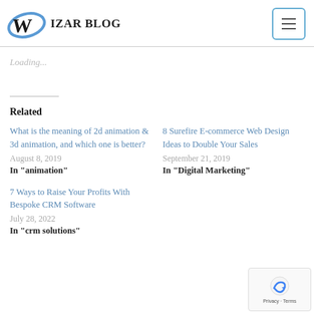Web Wizard Blog
Loading...
Related
What is the meaning of 2d animation & 3d animation, and which one is better?
August 8, 2019
In "animation"
8 Surefire E-commerce Web Design Ideas to Double Your Sales
September 21, 2019
In "Digital Marketing"
7 Ways to Raise Your Profits With Bespoke CRM Software
July 28, 2022
In "crm solutions"